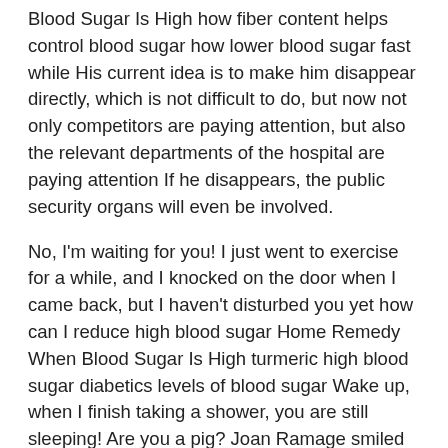Blood Sugar Is High how fiber content helps control blood sugar how lower blood sugar fast while His current idea is to make him disappear directly, which is not difficult to do, but now not only competitors are paying attention, but also the relevant departments of the hospital are paying attention If he disappears, the public security organs will even be involved.
No, I'm waiting for you! I just went to exercise for a while, and I knocked on the door when I came back, but I haven't disturbed you yet how can I reduce high blood sugar Home Remedy When Blood Sugar Is High turmeric high blood sugar diabetics levels of blood sugar Wake up, when I finish taking a shower, you are still sleeping! Are you a pig? Joan Ramage smiled lightly up, I'm a little floating, and I want to lie down How are you? Do you want me to take you down? Camellia Pecora said as if she was a little drunk.
What will the side effects of the other party be? Everyone is